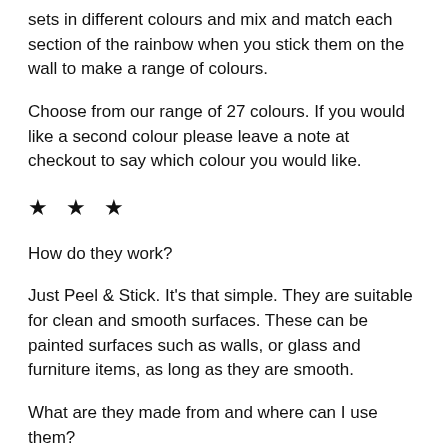sets in different colours and mix and match each section of the rainbow when you stick them on the wall to make a range of colours.
Choose from our range of 27 colours. If you would like a second colour please leave a note at checkout to say which colour you would like.
★ ★ ★
How do they work?
Just Peel & Stick. It's that simple. They are suitable for clean and smooth surfaces. These can be painted surfaces such as walls, or glass and furniture items, as long as they are smooth.
What are they made from and where can I use them?